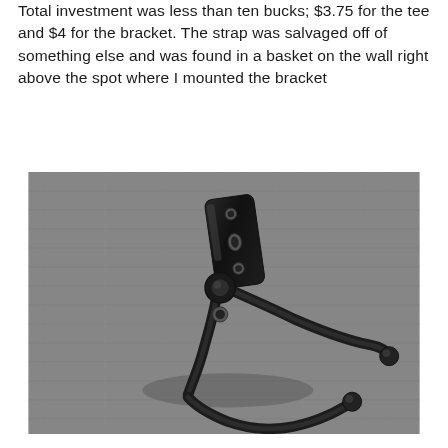Total investment was less than ten bucks; $3.75 for the tee and $4 for the bracket. The strap was salvaged off of something else and was found in a basket on the wall right above the spot where I mounted the bracket
[Figure (photo): A black metal wall-mount bracket with two double-pronged hooks, photographed on a grey textured surface. The bracket has a flat mounting plate at the top with three holes, and two curved arms extending outward ending in rounded tips.]